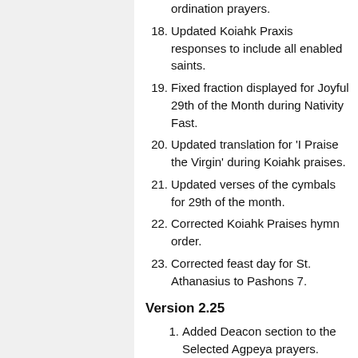ordination prayers.
18. Updated Koiahk Praxis responses to include all enabled saints.
19. Fixed fraction displayed for Joyful 29th of the Month during Nativity Fast.
20. Updated translation for 'I Praise the Virgin' during Koiahk praises.
21. Updated verses of the cymbals for 29th of the month.
22. Corrected Koiahk Praises hymn order.
23. Corrected feast day for St. Athanasius to Pashons 7.
Version 2.25
1. Added Deacon section to the Selected Agpeya prayers.
2. Added prayers for St. Maurice.